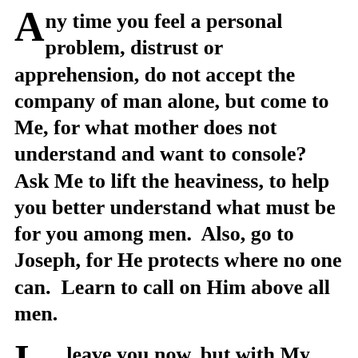Any time you feel a personal problem, distrust or apprehension, do not accept the company of man alone, but come to Me, for what mother does not understand and want to console?  Ask Me to lift the heaviness, to help you better understand what must be for you among men.  Also, go to Joseph, for He protects where no one can.  Learn to call on Him above all men.
I leave you now, but with My Love, I cross you with My